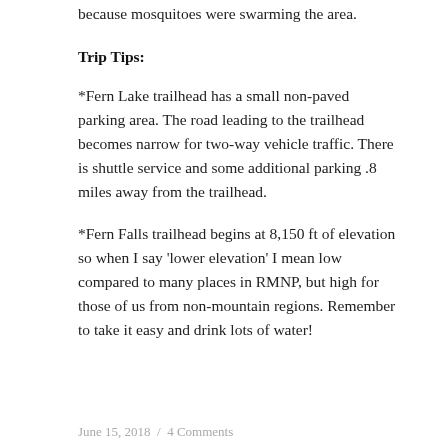because mosquitoes were swarming the area.
Trip Tips:
*Fern Lake trailhead has a small non-paved parking area. The road leading to the trailhead becomes narrow for two-way vehicle traffic. There is shuttle service and some additional parking .8 miles away from the trailhead.
*Fern Falls trailhead begins at 8,150 ft of elevation so when I say 'lower elevation' I mean low compared to many places in RMNP, but high for those of us from non-mountain regions. Remember to take it easy and drink lots of water!
June 15, 2018  /  4 Comments